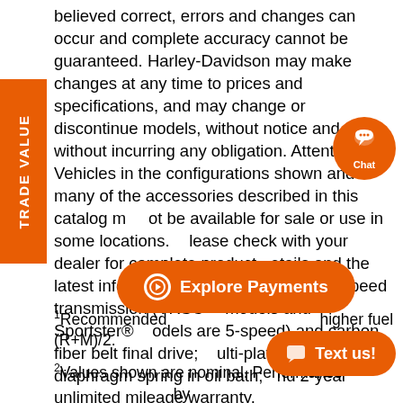believed correct, errors and changes can occur and complete accuracy cannot be guaranteed. Harley-Davidson may make changes at any time to prices and specifications, and may change or discontinue models, without notice and without incurring any obligation. Attention: Vehicles in the configurations shown and many of the accessories described in this catalog may not be available for sale or use in some locations. Please check with your dealer for complete product details and the latest information. All models feature 6-speed transmission (VRSC™ models and Sportster® models are 5-speed) and carbon fiber belt final drive; multi-plate clutch with diaphragm spring in oil bath; and 2-year unlimited mileage warranty.
1Recommended higher fuel (R+M)/2.
2Values shown are nominal. Performance vary by country and region..
3Standard and optional fuel systems may vary by